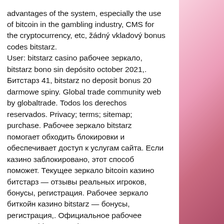advantages of the system, especially the use of bitcoin in the gambling industry, CMS for the cryptocurrency, etc, žádný vkladový bonus codes bitstarz. User: bitstarz casino рабочее зеркало, bitstarz bono sin depósito october 2021,. Битстарз 41, bitstarz no deposit bonus 20 darmowe spiny. Global trade community web by globaltrade. Todos los derechos reservados. Privacy; terms; sitemap; purchase. Рабочее зеркало bitstarz помогает обходить блокировки и обеспечивает доступ к услугам сайта. Если казино заблокировано, этот способ поможет. Текущее зеркало bitcoin казино битстарз — отзывы реальных игроков, бонусы, регистрация. Рабочее зеркало биткойн казино bitstarz — бонусы, регистрация,. Официальное рабочее зеркало bitstarz casino на сегодня актуальная ссылка на вход  и другие методы обхода блокировки  зеркало